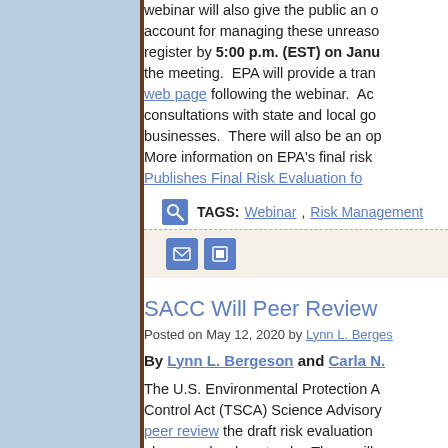webinar will also give the public an opportunity to account for managing these unreasonably... register by 5:00 p.m. (EST) on January... the meeting. EPA will provide a transcript... web page following the webinar. Additional consultations with state and local governments... businesses. There will also be an opportunity... More information on EPA's final risk... Publishes Final Risk Evaluation for...
TAGS: Webinar, Risk Management
SACC Will Peer Review
Posted on May 12, 2020 by Lynn L. Bergeson
By Lynn L. Bergeson and Carla N.
The U.S. Environmental Protection Agency... Control Act (TSCA) Science Advisory... peer review the draft risk evaluation... phone and webcast only. There will... previously announced virtual meeting...